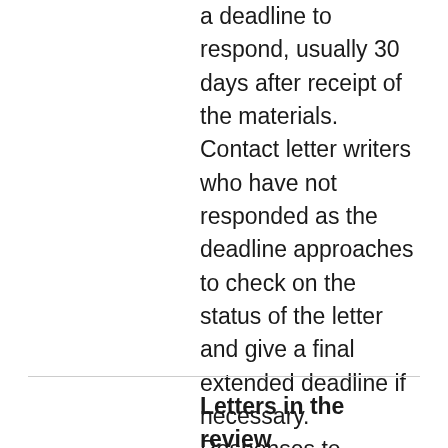a deadline to respond, usually 30 days after receipt of the materials. Contact letter writers who have not responded as the deadline approaches to check on the status of the letter and give a final extended deadline if necessary. Responses to solicited letters are received via DivData Review.
Letters in the review